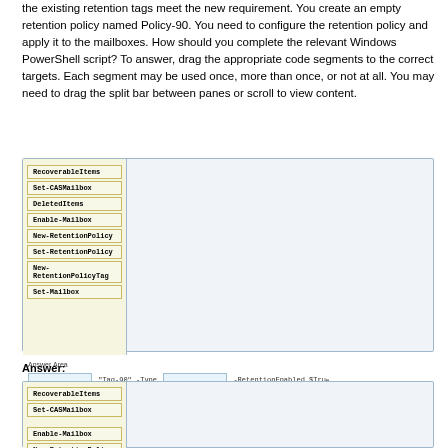the existing retention tags meet the new requirement. You create an empty retention policy named Policy-90. You need to configure the retention policy and apply it to the mailboxes. How should you complete the relevant Windows PowerShell script? To answer, drag the appropriate code segments to the correct targets. Each segment may be used once, more than once, or not at all. You may need to drag the split bar between panes or scroll to view content.
[Figure (screenshot): Interactive drag-and-drop exercise showing left panel with code segments (RecoverableItems, Set-CASMailbox, DeletedItems, Enable-Mailbox, New-RetentionPolicy, Set-RetentionPolicy, New-RetentionPolicyTag, Set-Mailbox) and right Answer Area panel with blank boxes and code lines.]
Answer:
[Figure (screenshot): Answer section showing filled drag-and-drop exercise: New-RetentionPolicyTag in first blank, DeletedItems in second blank, Set-RetentionPolicy filled, Set-Mailbox filled.]